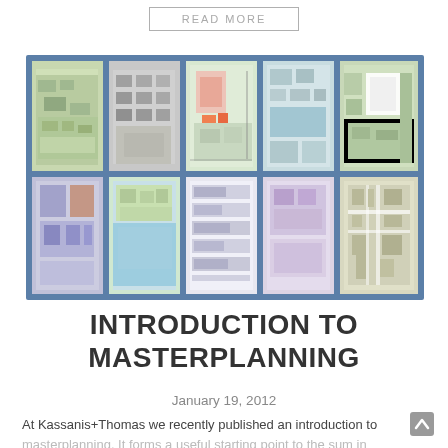READ MORE
[Figure (illustration): A 2x5 grid of masterplanning maps and architectural drawings/aerial views, bordered in blue, showing various urban planning and site layout designs.]
INTRODUCTION TO MASTERPLANNING
January 19, 2012
At Kassanis+Thomas we recently published an introduction to masterplanning. It forms a useful starting point to the sum in